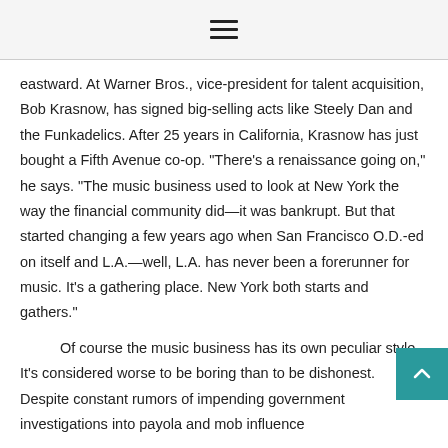≡
eastward. At Warner Bros., vice-president for talent acquisition, Bob Krasnow, has signed big-selling acts like Steely Dan and the Funkadelics. After 25 years in California, Krasnow has just bought a Fifth Avenue co-op. "There's a renaissance going on," he says. "The music business used to look at New York the way the financial community did—it was bankrupt. But that started changing a few years ago when San Francisco O.D.-ed on itself and L.A.—well, L.A. has never been a forerunner for music. It's a gathering place. New York both starts and gathers."
Of course the music business has its own peculiar style. It's considered worse to be boring than to be dishonest. Despite constant rumors of impending government investigations into payola and mob influence